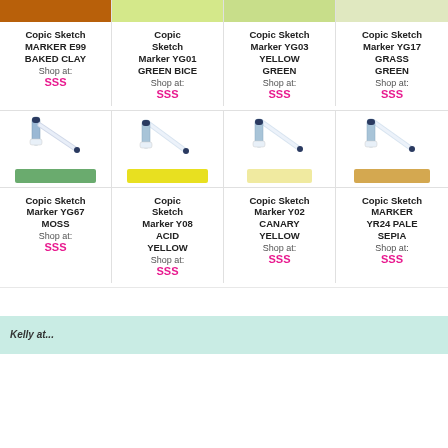[Figure (illustration): Copic Sketch Marker product card with brown swatch - E99 BAKED CLAY]
Copic Sketch MARKER E99 BAKED CLAY
Shop at:
SSS
[Figure (illustration): Copic Sketch Marker product card with light green swatch - YG01 GREEN BICE]
Copic Sketch Marker YG01 GREEN BICE
Shop at:
SSS
[Figure (illustration): Copic Sketch Marker product card with green swatch - YG03 YELLOW GREEN]
Copic Sketch Marker YG03 YELLOW GREEN
Shop at:
SSS
[Figure (illustration): Copic Sketch Marker product card with light green swatch - YG17 GRASS GREEN]
Copic Sketch Marker YG17 GRASS GREEN
Shop at:
SSS
[Figure (illustration): Copic Sketch Marker product card with medium green swatch - YG67 MOSS]
Copic Sketch Marker YG67 MOSS
Shop at:
SSS
[Figure (illustration): Copic Sketch Marker product card with yellow swatch - Y08 ACID YELLOW]
Copic Sketch Marker Y08 ACID YELLOW
Shop at:
SSS
[Figure (illustration): Copic Sketch Marker product card with pale yellow swatch - Y02 CANARY YELLOW]
Copic Sketch Marker Y02 CANARY YELLOW
Shop at:
SSS
[Figure (illustration): Copic Sketch Marker product card with pale sepia/tan swatch - YR24 PALE SEPIA]
Copic Sketch MARKER YR24 PALE SEPIA
Shop at:
SSS
Kelly at...